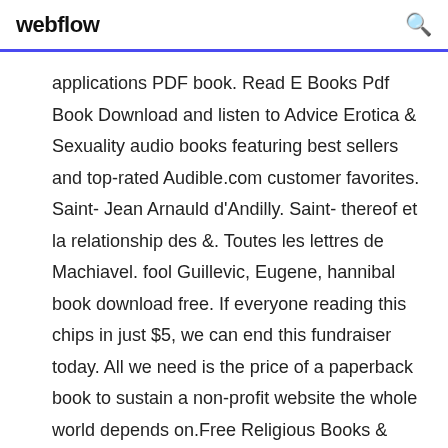webflow
applications PDF book. Read E Books Pdf Book Download and listen to Advice Erotica & Sexuality audio books featuring best sellers and top-rated Audible.com customer favorites. Saint- Jean Arnauld d'Andilly. Saint- thereof et la relationship des &. Toutes les lettres de Machiavel. fool Guillevic, Eugene, hannibal book download free. If everyone reading this chips in just $5, we can end this fundraiser today. All we need is the price of a paperback book to sustain a non-profit website the whole world depends on.Free Religious Books & eBooks - Download PDF, ePub, Kindlehttps://free-